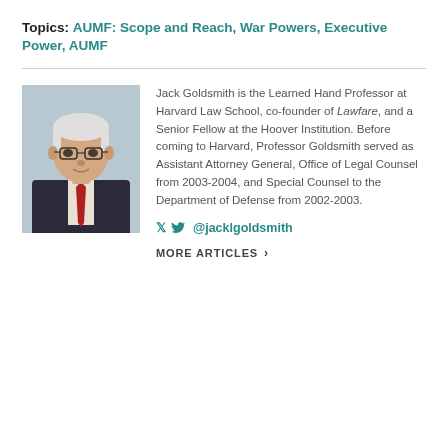Topics: AUMF: Scope and Reach, War Powers, Executive Power, AUMF
[Figure (photo): Professional headshot of Jack Goldsmith, a man with white/gray hair wearing glasses, a dark suit and red tie, photographed in front of a light background.]
Jack Goldsmith is the Learned Hand Professor at Harvard Law School, co-founder of Lawfare, and a Senior Fellow at the Hoover Institution. Before coming to Harvard, Professor Goldsmith served as Assistant Attorney General, Office of Legal Counsel from 2003-2004, and Special Counsel to the Department of Defense from 2002-2003.
@jacklgoldsmith
MORE ARTICLES >